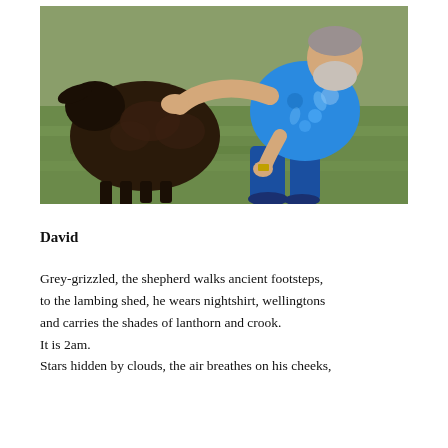[Figure (photo): A man in a blue floral Hawaiian shirt and blue jeans, crouching down on green grass, petting or feeding a black sheep/lamb with his hands. The scene is outdoors in a field.]
David
Grey-grizzled, the shepherd walks ancient footsteps,
to the lambing shed, he wears nightshirt, wellingtons
and carries the shades of lanthorn and crook.
It is 2am.
Stars hidden by clouds, the air breathes on his cheeks,